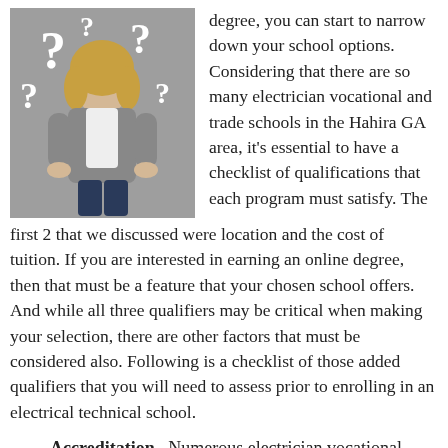[Figure (photo): A woman with blonde hair wearing a gray jacket and white shirt stands against a gray background with large white question marks around her.]
degree, you can start to narrow down your school options. Considering that there are so many electrician vocational and trade schools in the Hahira GA area, it's essential to have a checklist of qualifications that each program must satisfy. The first 2 that we discussed were location and the cost of tuition. If you are interested in earning an online degree, then that must be a feature that your chosen school offers. And while all three qualifiers may be critical when making your selection, there are other factors that must be considered also. Following is a checklist of those added qualifiers that you will need to assess prior to enrolling in an electrical technical school.
Accreditation.  Numerous electrician vocational schools have earned either a regional or a national